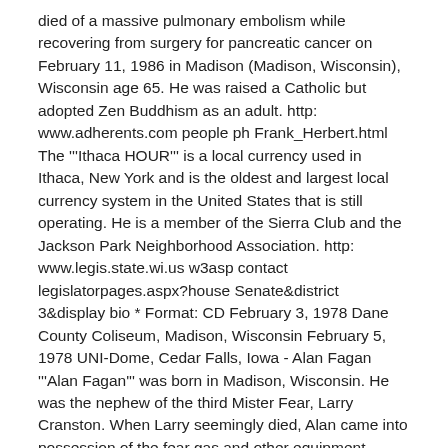died of a massive pulmonary embolism while recovering from surgery for pancreatic cancer on February 11, 1986 in Madison (Madison, Wisconsin), Wisconsin age 65. He was raised a Catholic but adopted Zen Buddhism as an adult. http: www.adherents.com people ph Frank_Herbert.html The '''Ithaca HOUR''' is a local currency used in Ithaca, New York and is the oldest and largest local currency system in the United States that is still operating. He is a member of the Sierra Club and the Jackson Park Neighborhood Association. http: www.legis.state.wi.us w3asp contact legislatorpages.aspx?house Senate&district 3&display bio * Format: CD February 3, 1978 Dane County Coliseum, Madison, Wisconsin February 5, 1978 UNI-Dome, Cedar Falls, Iowa - Alan Fagan '''Alan Fagan''' was born in Madison, Wisconsin. He was the nephew of the third Mister Fear, Larry Cranston. When Larry seemingly died, Alan came into possession of the fear gas and other equipment. "Marvel Team-Up" #92 Unlike the other Mister Fears, Fagan's primary adversary was Spider-Man, not Daredevil. "Web of Spider-Man" #63 "Web of Spider-Man" #98-100 1960s *The Fendermen - "Mule Skinner Blues" (Soma Records (Soma Records (U.S. label)), 1960 (1960 in music)) This Madison, Wisconsin-based...